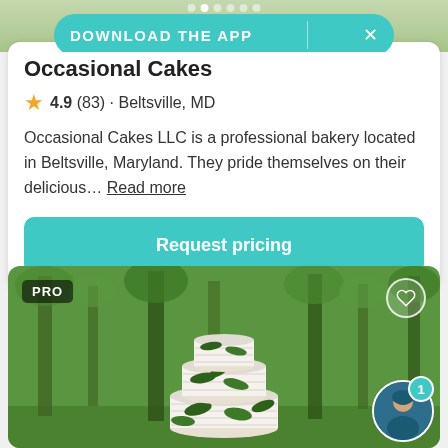[Figure (screenshot): Top strip showing partial photo of dessert/food background with image carousel dots and teal download app banner overlay]
Occasional Cakes
4.9 (83) · Beltsville, MD
Occasional Cakes LLC is a professional bakery located in Beltsville, Maryland. They pride themselves on their delicious… Read more
Request pricing
[Figure (photo): Photo of a three-tier white cake decorated with green leaves, set outdoors in a wooded/garden setting. PRO badge in top-left corner, heart icon in top-right, avatar with notification badge in bottom-right.]